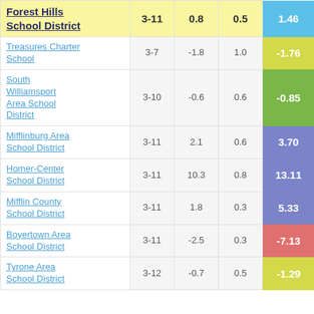| School District | Grades | Col3 | Col4 | Score |
| --- | --- | --- | --- | --- |
| Forest Hills School District | 3-11 | 0.8 | 0.5 | 1.46 |
| Treasures Charter School | 3-7 | -1.8 | 1.0 | -1.76 |
| South Williamsport Area School District | 3-10 | -0.6 | 0.6 | -0.85 |
| Mifflinburg Area School District | 3-11 | 2.1 | 0.6 | 3.70 |
| Homer-Center School District | 3-11 | 10.3 | 0.8 | 13.11 |
| Mifflin County School District | 3-11 | 1.8 | 0.3 | 5.33 |
| Boyertown Area School District | 3-11 | -2.5 | 0.3 | -7.13 |
| Tyrone Area School District | 3-12 | -0.7 | 0.5 | -1.29 |